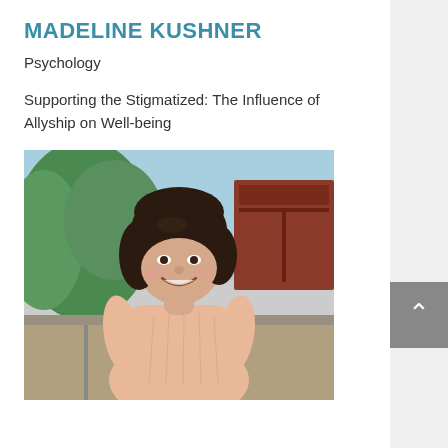MADELINE KUSHNER
Psychology
Supporting the Stigmatized: The Influence of Allyship on Well-being
[Figure (photo): Portrait photo of Madeline Kushner smiling, standing outdoors near railroad tracks with trees and a freight car in the background, wearing a light peach short-sleeve top.]